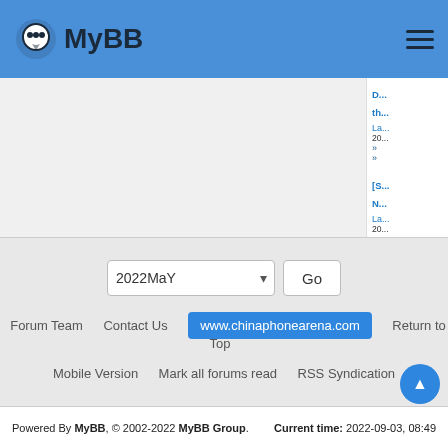MyBB
[Figure (screenshot): Right sidebar with partial forum thread links, dates, and chevron navigation arrows, cut off at left edge]
2022MaY — Go (archive navigation dropdown)
Forum Team   Contact Us   www.chinaphonearena.com   Return to Top
Mobile Version   Mark all forums read   RSS Syndication
Powered By MyBB, © 2002-2022 MyBB Group.   Current time: 2022-09-03, 08:49